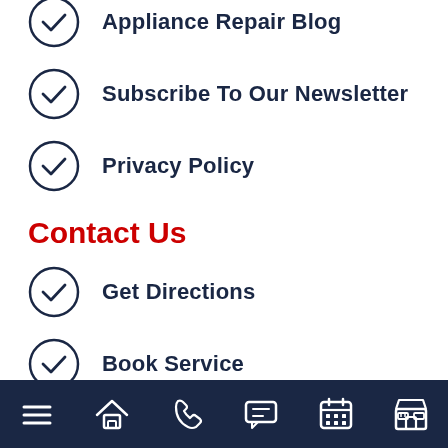Appliance Repair Blog
Subscribe To Our Newsletter
Privacy Policy
Contact Us
Get Directions
Book Service
[Figure (infographic): Social media icon buttons: Facebook, Google+, Yelp, YouTube — dark navy circular icons with white logos]
Navigation bar with icons: menu, home, phone, chat, calendar, store